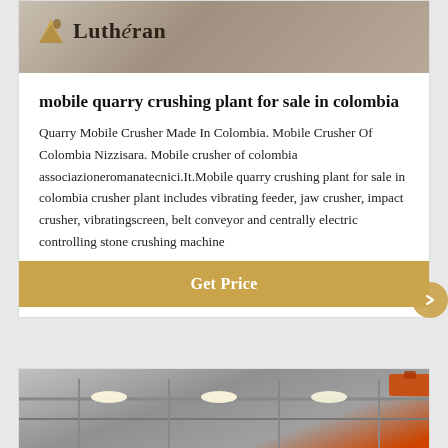[Figure (photo): Header image with Lutheran logo on a gray concrete/industrial background]
mobile quarry crushing plant for sale in colombia
Quarry Mobile Crusher Made In Colombia. Mobile Crusher Of Colombia Nizzisara. Mobile crusher of colombia associazioneromanatecnici.It.Mobile quarry crushing plant for sale in colombia crusher plant includes vibrating feeder, jaw crusher, impact crusher, vibratingscreen, belt conveyor and centrally electric controlling stone crushing machine
[Figure (other): Get Price button — gold/tan colored call-to-action button]
[Figure (photo): Second card partial image showing a factory/industrial interior with steel structure and bright lights]